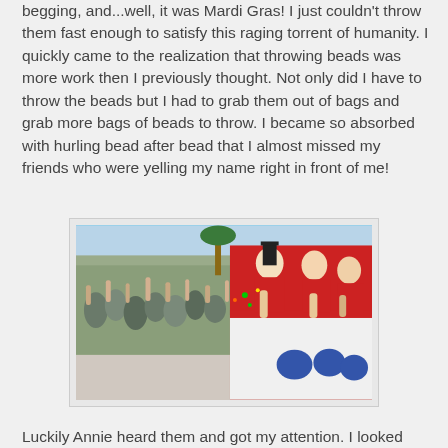begging, and...well, it was Mardi Gras!  I just couldn't throw them fast enough to satisfy this raging torrent of humanity.  I quickly came to the realization that throwing beads was more work then I previously thought.  Not only did I have to throw the beads but I had to grab them out of bags and grab more bags of beads to throw.  I became so absorbed with hurling bead after bead that I almost missed my friends who were yelling my name right in front of me!
[Figure (photo): A Mardi Gras parade scene showing costumed float riders in red leaning over the float decorated with blue hearts and white/red designs, throwing beads to a massive crowd of people reaching up with their hands along a street lined with palm trees.]
Luckily Annie heard them and got my attention.  I looked